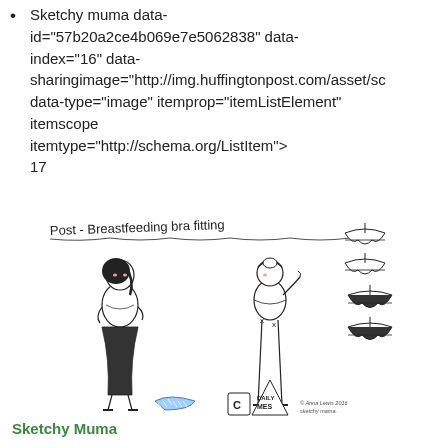Sketchy muma data-id="57b20a2ce4b069e7e5062838" data-index="16" data-sharingimage="http://img.huffingtonpost.com/asset/sc data-type="image" itemprop="itemListElement" itemscope itemtype="http://schema.org/ListItem"> 17
[Figure (illustration): Hand-drawn illustration titled 'Post-Breastfeeding bra fitting' showing two cartoon women characters and several bra drawings on hangers on the right side, with small objects at the bottom including what appears to be a tape measure, cup, and bag.]
Sketchy Muma